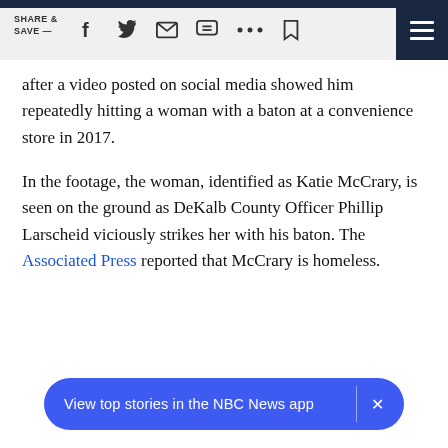SHARE & SAVE —  [social share icons]
after a video posted on social media showed him repeatedly hitting a woman with a baton at a convenience store in 2017.
In the footage, the woman, identified as Katie McCrary, is seen on the ground as DeKalb County Officer Phillip Larscheid viciously strikes her with his baton. The Associated Press reported that McCrary is homeless.
View top stories in the NBC News app  ×